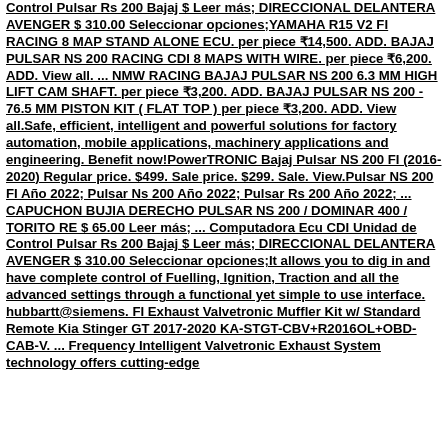Control Pulsar Rs 200 Bajaj $ Leer más; DIRECCIONAL DELANTERA AVENGER $ 310.00 Seleccionar opciones;YAMAHA R15 V2 FI RACING 8 MAP STAND ALONE ECU. per piece ₹14,500. ADD. BAJAJ PULSAR NS 200 RACING CDI 8 MAPS WITH WIRE. per piece ₹6,200. ADD. View all. ... NMW RACING BAJAJ PULSAR NS 200 6.3 MM HIGH LIFT CAM SHAFT. per piece ₹3,200. ADD. BAJAJ PULSAR NS 200 - 76.5 MM PISTON KIT ( FLAT TOP ) per piece ₹3,200. ADD. View all.Safe, efficient, intelligent and powerful solutions for factory automation, mobile applications, machinery applications and engineering. Benefit now!PowerTRONIC Bajaj Pulsar NS 200 FI (2016-2020) Regular price. $499. Sale price. $299. Sale. View.Pulsar NS 200 FI Año 2022; Pulsar Ns 200 Año 2022; Pulsar Rs 200 Año 2022; ... CAPUCHON BUJIA DERECHO PULSAR NS 200 / DOMINAR 400 / TORITO RE $ 65.00 Leer más; ... Computadora Ecu CDI Unidad de Control Pulsar Rs 200 Bajaj $ Leer más; DIRECCIONAL DELANTERA AVENGER $ 310.00 Seleccionar opciones;It allows you to dig in and have complete control of Fuelling, Ignition, Traction and all the advanced settings through a functional yet simple to use interface. hubbartt@siemens. FI Exhaust Valvetronic Muffler Kit w/ Standard Remote Kia Stinger GT 2017-2020 KA-STGT-CBV+R2016OL+OBD-CAB-V. ... Frequency Intelligent Valvetronic Exhaust System technology offers cutting-edge